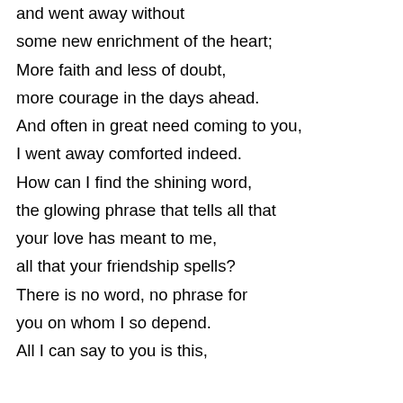and went away without
some new enrichment of the heart;
More faith and less of doubt,
more courage in the days ahead.
And often in great need coming to you,
I went away comforted indeed.
How can I find the shining word,
the glowing phrase that tells all that
your love has meant to me,
all that your friendship spells?
There is no word, no phrase for
you on whom I so depend.
All I can say to you is this,